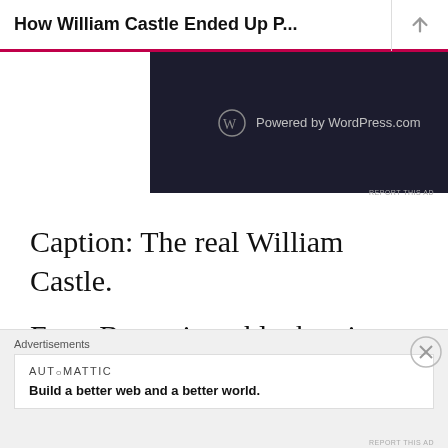How William Castle Ended Up P...
[Figure (screenshot): Dark banner ad showing WordPress.com logo and 'Powered by WordPress.com' text on dark background]
Caption: The real William Castle.
Even B-movie, schlockmeister pioneers want to go legit eventually, and Castle recognized his chance in Ira Levin's best-selling 1967 novel
[Figure (screenshot): Bottom advertisement area showing 'Advertisements' label, AUTOMATTIC branding, and 'Build a better web and a better world.' slogan]